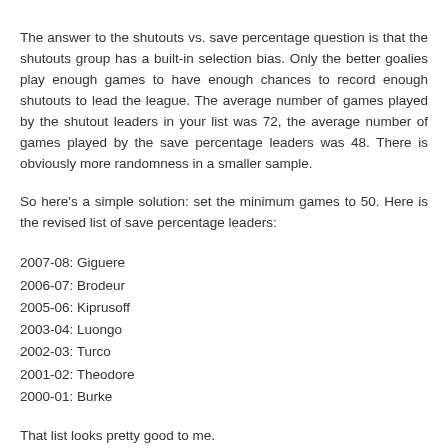The answer to the shutouts vs. save percentage question is that the shutouts group has a built-in selection bias. Only the better goalies play enough games to have enough chances to record enough shutouts to lead the league. The average number of games played by the shutout leaders in your list was 72, the average number of games played by the save percentage leaders was 48. There is obviously more randomness in a smaller sample.
So here's a simple solution: set the minimum games to 50. Here is the revised list of save percentage leaders:
2007-08: Giguere
2006-07: Brodeur
2005-06: Kiprusoff
2003-04: Luongo
2002-03: Turco
2001-02: Theodore
2000-01: Burke
That list looks pretty good to me.